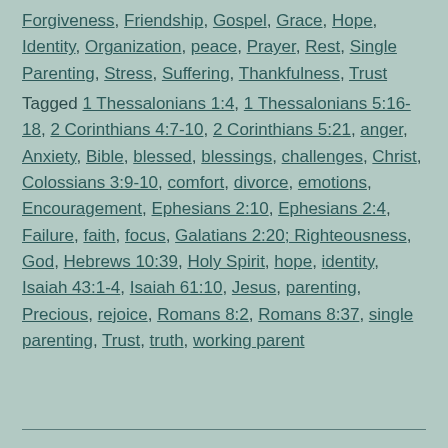Forgiveness, Friendship, Gospel, Grace, Hope, Identity, Organization, peace, Prayer, Rest, Single Parenting, Stress, Suffering, Thankfulness, Trust
Tagged 1 Thessalonians 1:4, 1 Thessalonians 5:16-18, 2 Corinthians 4:7-10, 2 Corinthians 5:21, anger, Anxiety, Bible, blessed, blessings, challenges, Christ, Colossians 3:9-10, comfort, divorce, emotions, Encouragement, Ephesians 2:10, Ephesians 2:4, Failure, faith, focus, Galatians 2:20; Righteousness, God, Hebrews 10:39, Holy Spirit, hope, identity, Isaiah 43:1-4, Isaiah 61:10, Jesus, parenting, Precious, rejoice, Romans 8:2, Romans 8:37, single parenting, Trust, truth, working parent